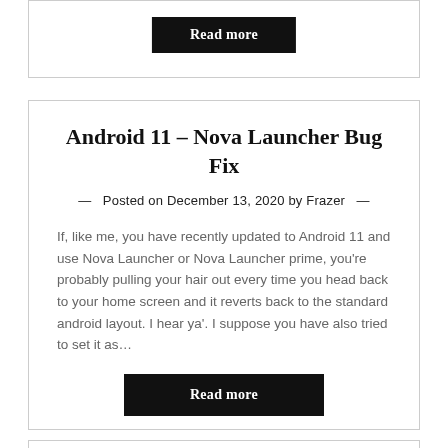Read more
Android 11 – Nova Launcher Bug Fix
— Posted on December 13, 2020 by Frazer —
If, like me, you have recently updated to Android 11 and use Nova Launcher or Nova Launcher prime, you're probably pulling your hair out every time you head back to your home screen and it reverts back to the standard android layout. I hear ya'. I suppose you have also tried to set it as…
Read more